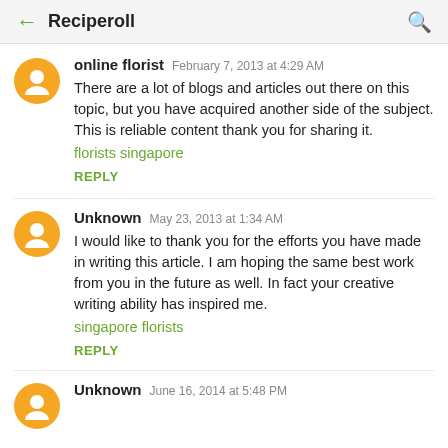Reciperoll
online florist  February 7, 2013 at 4:29 AM
There are a lot of blogs and articles out there on this topic, but you have acquired another side of the subject. This is reliable content thank you for sharing it.
florists singapore
REPLY
Unknown  May 23, 2013 at 1:34 AM
I would like to thank you for the efforts you have made in writing this article. I am hoping the same best work from you in the future as well. In fact your creative writing ability has inspired me.
singapore florists
REPLY
Unknown  June 16, 2014 at 5:48 PM